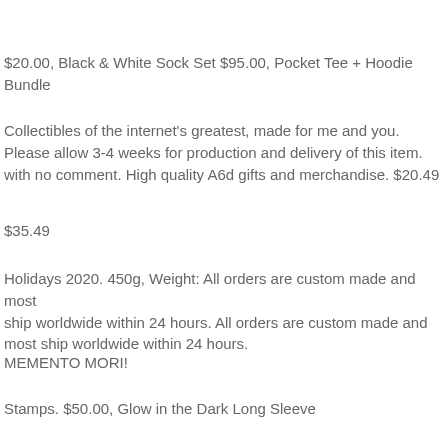$20.00, Black & White Sock Set $95.00, Pocket Tee + Hoodie Bundle
Collectibles of the internet's greatest, made for me and you. Please allow 3-4 weeks for production and delivery of this item. with no comment. High quality A6d gifts and merchandise. $20.49
$35.49
Holidays 2020. 450g, Weight: All orders are custom made and most ship worldwide within 24 hours. All orders are custom made and most ship worldwide within 24 hours.
MEMENTO MORI!
Stamps. $50.00, Glow in the Dark Long Sleeve